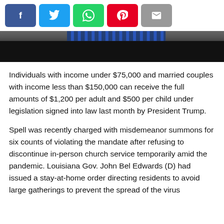[Figure (screenshot): Social media sharing buttons: Facebook (blue), Twitter (light blue), WhatsApp (green), Pinterest (red), Email (gray)]
[Figure (photo): Partial news article image strip showing dark background with striped blue pattern in upper area]
Individuals with income under $75,000 and married couples with income less than $150,000 can receive the full amounts of $1,200 per adult and $500 per child under legislation signed into law last month by President Trump.
Spell was recently charged with misdemeanor summons for six counts of violating the mandate after refusing to discontinue in-person church service temporarily amid the pandemic. Louisiana Gov. John Bel Edwards (D) had issued a stay-at-home order directing residents to avoid large gatherings to prevent the spread of the virus